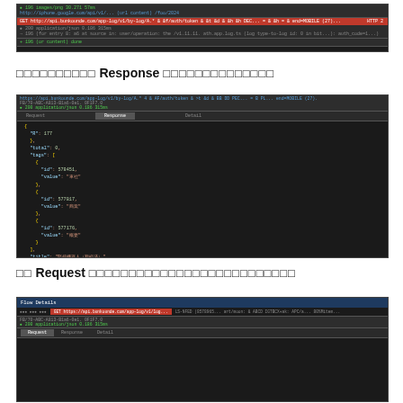[Figure (screenshot): Dark terminal/browser developer tools screenshot showing HTTP request with red highlighted row]
ดูข้อมูลใน Response ที่ได้รับกลับมา
[Figure (screenshot): Dark browser developer tools showing Response tab with JSON data containing tags, title, url fields]
ดู Request ที่ถูกส่งออกไปพร้อมกับข้อมูลอะไร
[Figure (screenshot): Dark browser developer tools Flow Details panel with Request tab highlighted]